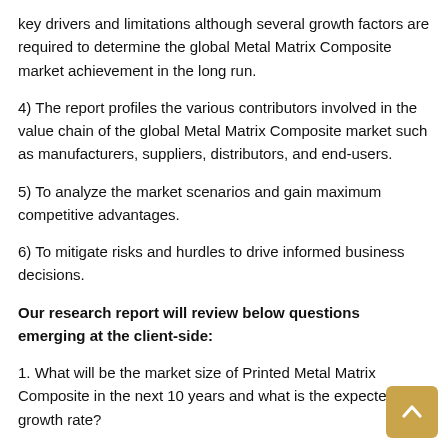key drivers and limitations although several growth factors are required to determine the global Metal Matrix Composite market achievement in the long run.
4) The report profiles the various contributors involved in the value chain of the global Metal Matrix Composite market such as manufacturers, suppliers, distributors, and end-users.
5) To analyze the market scenarios and gain maximum competitive advantages.
6) To mitigate risks and hurdles to drive informed business decisions.
Our research report will review below questions emerging at the client-side:
1. What will be the market size of Printed Metal Matrix Composite in the next 10 years and what is the expected growth rate?
[Figure (other): Scroll-to-top button with upward arrow chevron on golden/tan background]